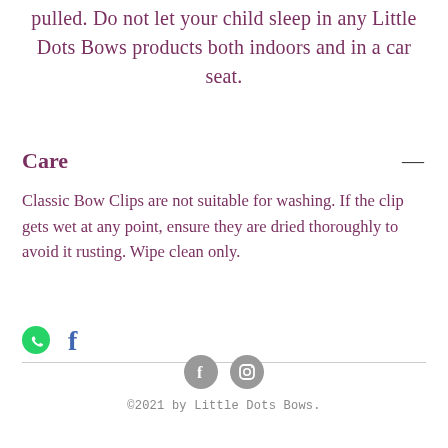pulled. Do not let your child sleep in any Little Dots Bows products both indoors and in a car seat.
Care
Classic Bow Clips are not suitable for washing. If the clip gets wet at any point, ensure they are dried thoroughly to avoid it rusting. Wipe clean only.
[Figure (other): Social media icons: WhatsApp and Facebook logos in a row above a horizontal divider line]
©2021 by Little Dots Bows.